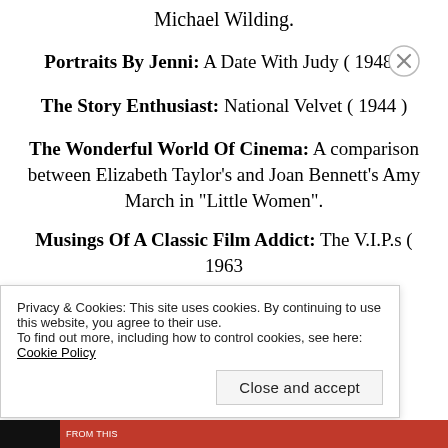Michael Wilding.
Portraits By Jenni: A Date With Judy ( 1948 )
The Story Enthusiast: National Velvet ( 1944 )
The Wonderful World Of Cinema: A comparison between Elizabeth Taylor’s and Joan Bennett’s Amy March in “Little Women”.
Musings Of A Classic Film Addict: The V.I.P.s ( 1963
Privacy & Cookies: This site uses cookies. By continuing to use this website, you agree to their use. To find out more, including how to control cookies, see here: Cookie Policy
Close and accept